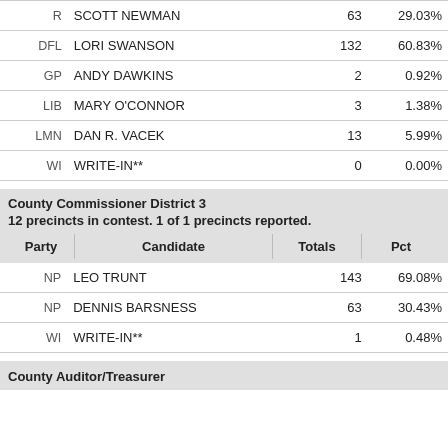| Party | Candidate | Totals | Pct |
| --- | --- | --- | --- |
| R | SCOTT NEWMAN | 63 | 29.03% |
| DFL | LORI SWANSON | 132 | 60.83% |
| GP | ANDY DAWKINS | 2 | 0.92% |
| LIB | MARY O'CONNOR | 3 | 1.38% |
| LMN | DAN R. VACEK | 13 | 5.99% |
| WI | WRITE-IN** | 0 | 0.00% |
County Commissioner District 3
12 precincts in contest. 1 of 1 precincts reported.
| Party | Candidate | Totals | Pct |
| --- | --- | --- | --- |
| NP | LEO TRUNT | 143 | 69.08% |
| NP | DENNIS BARSNESS | 63 | 30.43% |
| WI | WRITE-IN** | 1 | 0.48% |
County Auditor/Treasurer